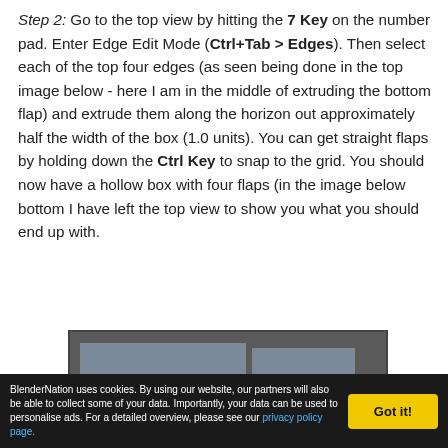Step 2: Go to the top view by hitting the 7 Key on the number pad. Enter Edge Edit Mode (Ctrl+Tab > Edges). Then select each of the top four edges (as seen being done in the top image below - here I am in the middle of extruding the bottom flap) and extrude them along the horizon out approximately half the width of the box (1.0 units). You can get straight flaps by holding down the Ctrl Key to snap to the grid. You should now have a hollow box with four flaps (in the image below bottom I have left the top view to show you what you should end up with.
[Figure (screenshot): Screenshot of Blender 3D viewport showing a hollow box with four flaps in top or perspective view, grey background with blue-grey panels visible.]
BlenderNation uses cookies. By using our website, our partners will also be able to collect some of your data. Importantly, your data can be used to personalise ads. For a detailed overview, please see our privacy policy page.